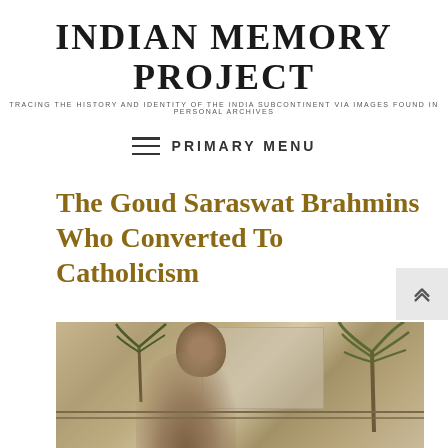INDIAN MEMORY PROJECT
TRACING THE HISTORY AND IDENTITY OF THE INDIA SUBCONTINENT VIA IMAGES FOUND IN PERSONAL ARCHIVES
≡ PRIMARY MENU
The Goud Saraswat Brahmins Who Converted To Catholicism
[Figure (photo): Old sepia-toned photograph showing a person standing in front of a building with palm trees in the background]